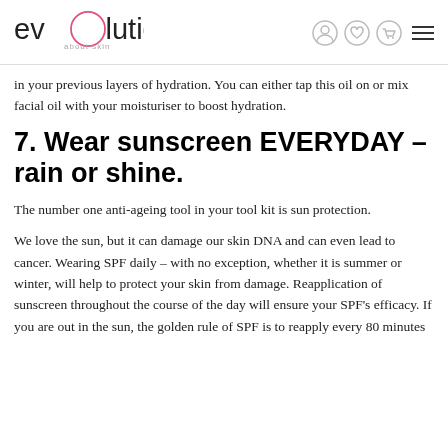evolution about skin
in your previous layers of hydration. You can either tap this oil on or mix facial oil with your moisturiser to boost hydration.
7. Wear sunscreen EVERYDAY – rain or shine.
The number one anti-ageing tool in your tool kit is sun protection.
We love the sun, but it can damage our skin DNA and can even lead to cancer. Wearing SPF daily – with no exception, whether it is summer or winter, will help to protect your skin from damage. Reapplication of sunscreen throughout the course of the day will ensure your SPF's efficacy. If you are out in the sun, the golden rule of SPF is to reapply every 80 minutes